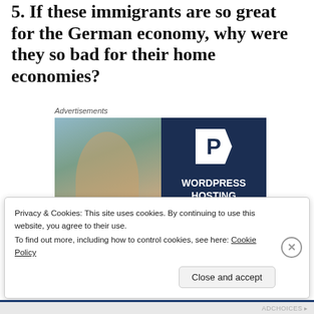5. If these immigrants are so great for the German economy, why were they so bad for their home economies?
Advertisements
[Figure (photo): Advertisement banner: left half shows a smiling person holding an OPEN sign in a shop window; right half has dark navy background with a stylized 'P' logo and text 'WORDPRESS HOSTING THAT MEANS BUSINESS.']
Privacy & Cookies: This site uses cookies. By continuing to use this website, you agree to their use.
To find out more, including how to control cookies, see here: Cookie Policy